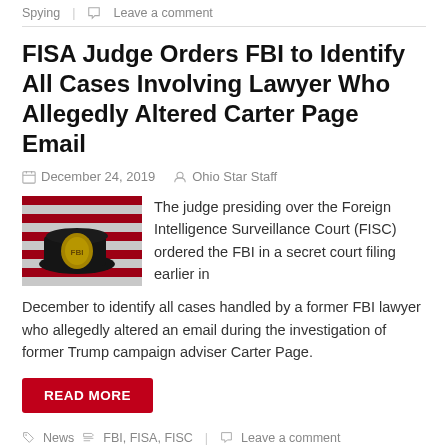Spying | Leave a comment
FISA Judge Orders FBI to Identify All Cases Involving Lawyer Who Allegedly Altered Carter Page Email
December 24, 2019   Ohio Star Staff
[Figure (photo): Photo of an FBI badge/hat with American flag in background]
The judge presiding over the Foreign Intelligence Surveillance Court (FISC) ordered the FBI in a secret court filing earlier in December to identify all cases handled by a former FBI lawyer who allegedly altered an email during the investigation of former Trump campaign adviser Carter Page.
READ MORE
News   FBI, FISA, FISC   Leave a comment
FISA Judge Blasts FBI for Providing False Information to Win a Carter Pa…